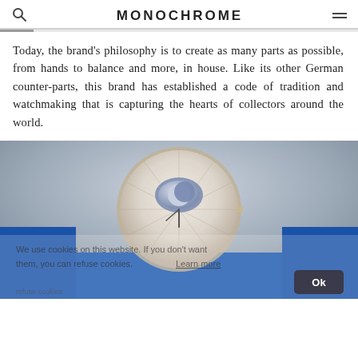MONOCHROME
Today, the brand’s philosophy is to create as many parts as possible, from hands to balance and more, in house. Like its other German counter-parts, this brand has established a code of tradition and watchmaking that is capturing the hearts of collectors around the world.
[Figure (photo): Close-up photo of a luxury watch with a white/cream dial featuring a moon phase complication and ornate detailing, set on a vivid blue satin strap. A cookie consent overlay partially obscures the lower portion of the image with text reading: 'We use cookies on this website. If you don't want them, you can refuse cookies. Learn more' and an 'Ok' button.]